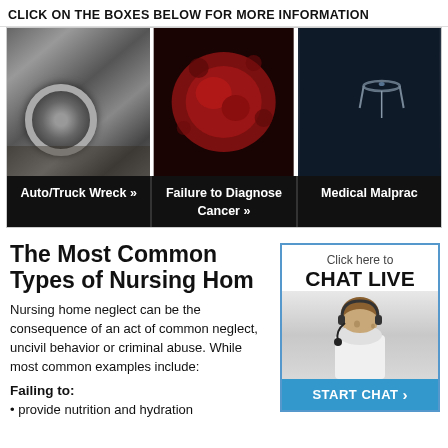CLICK ON THE BOXES BELOW FOR MORE INFORMATION
[Figure (photo): Three clickable image boxes: Auto/Truck Wreck (damaged car wheel), Failure to Diagnose Cancer (microscopic cancer cells), Medical Malpractice (surgical tools on dark background)]
The Most Common Types of Nursing Home
Nursing home neglect can be the consequence of an act of common neglect, uncivil behavior or criminal abuse. While most common examples include:
Failing to:
provide nutrition and hydration
[Figure (photo): Chat live widget with a woman wearing a headset, Click here to CHAT LIVE button and START CHAT button in blue]